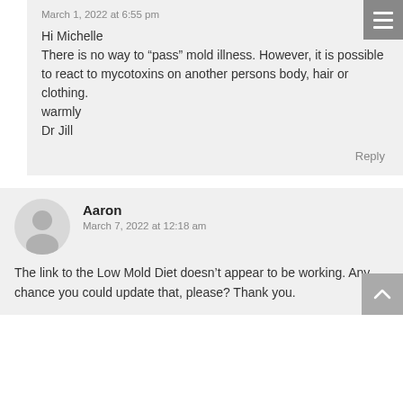March 1, 2022 at 6:55 pm
Hi Michelle
There is no way to “pass” mold illness. However, it is possible to react to mycotoxins on another persons body, hair or clothing.
warmly
Dr Jill
Reply
Aaron
March 7, 2022 at 12:18 am
The link to the Low Mold Diet doesn’t appear to be working. Any chance you could update that, please? Thank you.